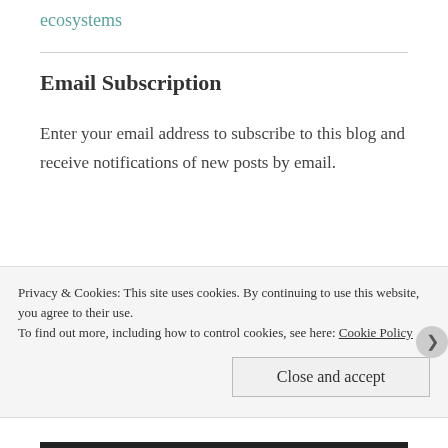ecosystems
Email Subscription
Enter your email address to subscribe to this blog and receive notifications of new posts by email.
Enter your email address
Privacy & Cookies: This site uses cookies. By continuing to use this website, you agree to their use.
To find out more, including how to control cookies, see here: Cookie Policy
Close and accept